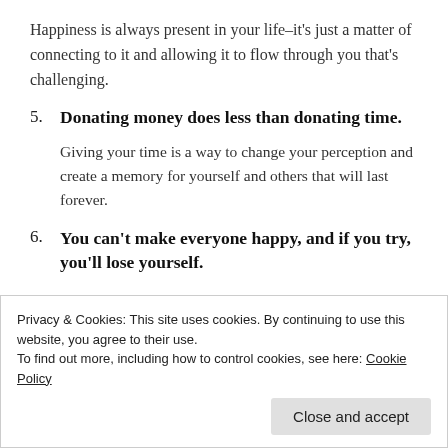Happiness is always present in your life–it's just a matter of connecting to it and allowing it to flow through you that's challenging.
5. Donating money does less than donating time.
Giving your time is a way to change your perception and create a memory for yourself and others that will last forever.
6. You can't make everyone happy, and if you try, you'll lose yourself.
Privacy & Cookies: This site uses cookies. By continuing to use this website, you agree to their use.
To find out more, including how to control cookies, see here: Cookie Policy
Close and accept
unrealistic standards creates suffering.